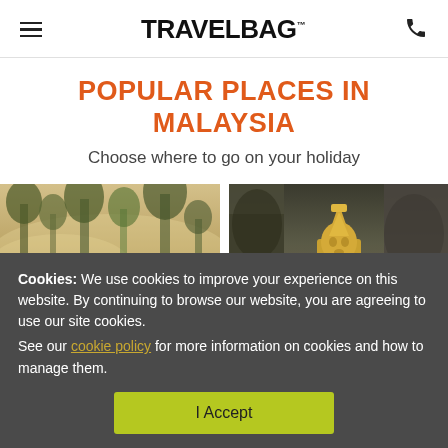TRAVELBAG
POPULAR PLACES IN MALAYSIA
Choose where to go on your holiday
[Figure (photo): Misty tropical rainforest scene with tall trees and golden hazy light]
[Figure (photo): Dark rocky cave or cliff face with a golden Hindu statue (Murugan) visible at Batu Caves, Malaysia]
Cookies: We use cookies to improve your experience on this website. By continuing to browse our website, you are agreeing to use our site cookies. See our cookie policy for more information on cookies and how to manage them.
I Accept